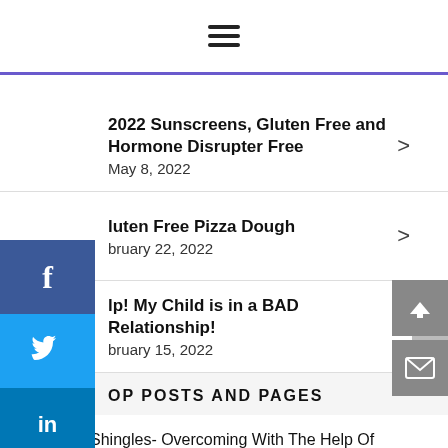≡ (hamburger menu)
2022 Sunscreens, Gluten Free and Hormone Disrupter Free
May 8, 2022
Gluten Free Pizza Dough
February 22, 2022
Help! My Child is in a BAD Relationship!
February 15, 2022
TOP POSTS AND PAGES
Shingles- Overcoming With The Help Of Essential Oils!
Basket Weave Baby Blanket- Free Crochet Pattern